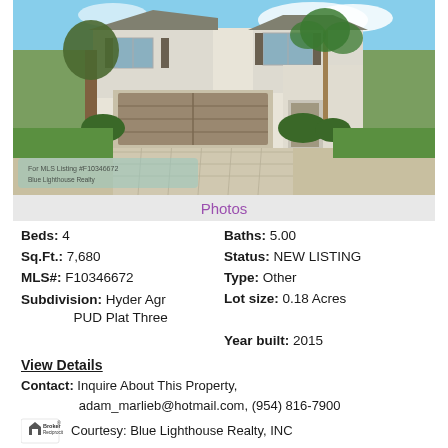[Figure (photo): Exterior photo of a two-story residential home with a two-car garage, palm trees, and paved driveway. Florida-style architecture with light stucco exterior.]
Photos
Beds: 4	Baths: 5.00
Sq.Ft.: 7,680	Status: NEW LISTING
MLS#: F10346672	Type: Other
Subdivision: Hyder Agr PUD Plat Three	Lot size: 0.18 Acres
	Year built: 2015
View Details
Contact: Inquire About This Property, adam_marlieb@hotmail.com, (954) 816-7900
Courtesy: Blue Lighthouse Realty, INC